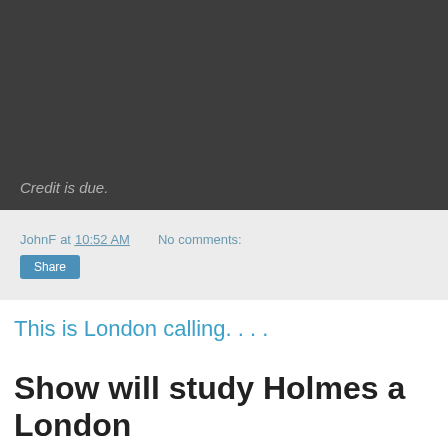[Figure (other): Dark gray banner image area with caption text 'Credit is due.' at the bottom left]
Credit is due.
JohnF at 10:52 AM   No comments:
Share
This is London calling. . . .
Show will study Holmes a London